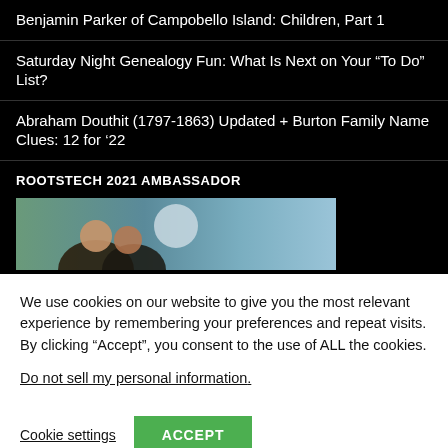Benjamin Parker of Campobello Island: Children, Part 1
Saturday Night Genealogy Fun: What Is Next on Your “To Do” List?
Abraham Douthit (1797-1863) Updated + Burton Family Name Clues: 12 for ’22
ROOTSTECH 2021 AMBASSADOR
[Figure (photo): Partial photo showing two people close together against a blue sky background]
We use cookies on our website to give you the most relevant experience by remembering your preferences and repeat visits. By clicking “Accept”, you consent to the use of ALL the cookies.
Do not sell my personal information.
Cookie settings
ACCEPT